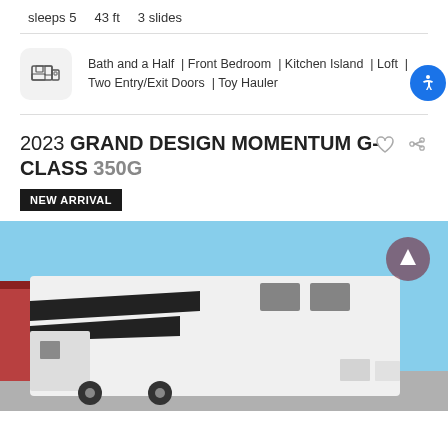sleeps 5   43 ft   3 slides
Bath and a Half | Front Bedroom | Kitchen Island | Loft | Two Entry/Exit Doors | Toy Hauler
2023 GRAND DESIGN MOMENTUM G-CLASS 350G
NEW ARRIVAL
[Figure (photo): Exterior photo of a 2023 Grand Design Momentum G-Class 350G fifth-wheel RV, white with black graphics, parked in a lot with blue sky and red building in background.]